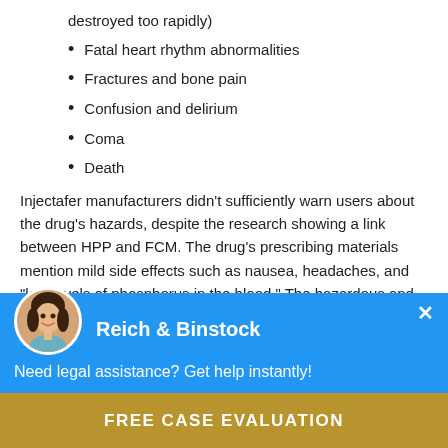destroyed too rapidly)
Fatal heart rhythm abnormalities
Fractures and bone pain
Confusion and delirium
Coma
Death
Injectafer manufacturers didn’t sufficiently warn users about the drug’s hazards, despite the research showing a link between HPP and FCM. The drug’s prescribing materials mention mild side effects such as nausea, headaches, and “low levels of phosphorus in the blood.” The hazardous and
[Figure (other): Chat widget overlay for law firm Reich & Binstock with avatar photo of a smiling woman, blue background, close button (x), subtitle 'Need legal assistance? Get help instantly!']
FREE CASE EVALUATION